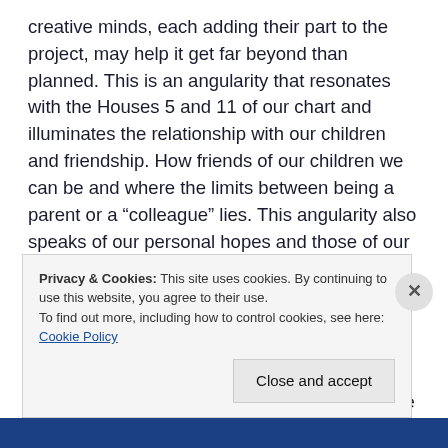creative minds, each adding their part to the project, may help it get far beyond than planned. This is an angularity that resonates with the Houses 5 and 11 of our chart and illuminates the relationship with our children and friendship. How friends of our children we can be and where the limits between being a parent or a “colleague” lies. This angularity also speaks of our personal hopes and those of our community. Do we share the aspirations of our tribe or do we feel “out of the pack” (Aquarius)?. Aquarius in certain aspects, perennially feels “out of the herd”, with great difficulty to obtain membership as set forth by the “tribe”. “Solitude” is an Aquarian feeling, but it could be used as the stimulus to discover who we really
Privacy & Cookies: This site uses cookies. By continuing to use this website, you agree to their use.
To find out more, including how to control cookies, see here: Cookie Policy
Close and accept